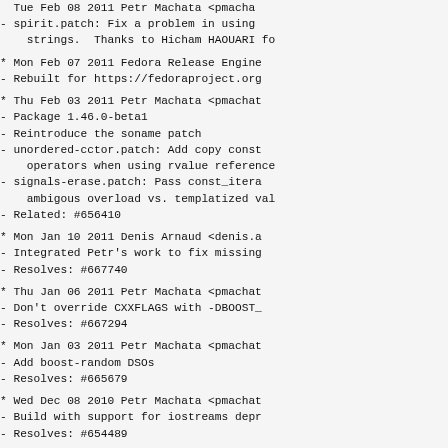Tue Feb 08 2011 Petr Machata <pmacha
- spirit.patch: Fix a problem in using
    strings.  Thanks to Hicham HAOUARI fo
* Mon Feb 07 2011 Fedora Release Engine
- Rebuilt for https://fedoraproject.org
* Thu Feb 03 2011 Petr Machata <pmachat
- Package 1.46.0-beta1
- Reintroduce the soname patch
- unordered-cctor.patch: Add copy const
    operators when using rvalue reference
- signals-erase.patch: Pass const_itera
    ambigous overload vs. templatized val
- Related: #656410
* Mon Jan 10 2011 Denis Arnaud <denis.a
- Integrated Petr's work to fix missing
- Resolves: #667740
* Thu Jan 06 2011 Petr Machata <pmachat
- Don't override CXXFLAGS with -DBOOST_
- Resolves: #667294
* Mon Jan 03 2011 Petr Machata <pmachat
- Add boost-random DSOs
- Resolves: #665679
* Wed Dec 08 2010 Petr Machata <pmachat
- Build with support for iostreams depr
- Resolves: #654489